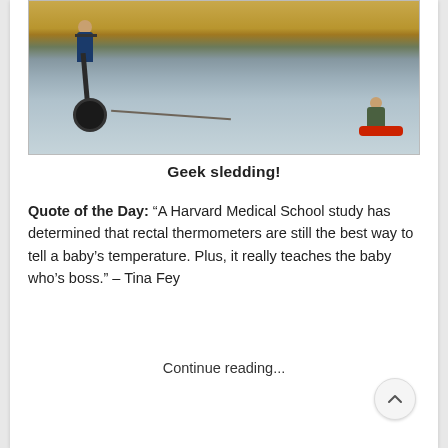[Figure (photo): A person riding a Segway on a frozen lake or icy surface, towing a child seated in a small red sled. Yellow-brown tall grass or reeds visible in the background.]
Geek sledding!
Quote of the Day: “A Harvard Medical School study has determined that rectal thermometers are still the best way to tell a baby’s temperature. Plus, it really teaches the baby who’s boss.” – Tina Fey
Continue reading...